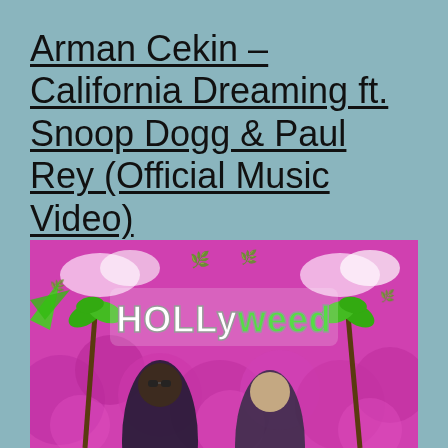Arman Cekin – California Dreaming ft. Snoop Dogg & Paul Rey (Official Music Video)
[Figure (photo): Music video thumbnail showing two men (one with sunglasses) on a bright pink/magenta background with cartoon elements including palm trees, cannabis leaf decorations, and a 'HOLLYWEED' sign in large stylized letters in the center]